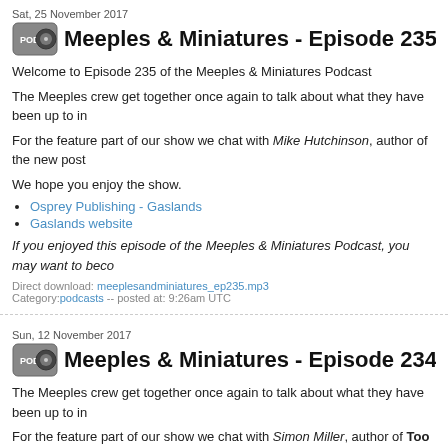Sat, 25 November 2017
Meeples & Miniatures - Episode 235 - Gasla
Welcome to Episode 235 of the Meeples & Miniatures Podcast
The Meeples crew get together once again to talk about what they have been up to in
For the feature part of our show we chat with Mike Hutchinson, author of the new post
We hope you enjoy the show.
Osprey Publishing - Gaslands
Gaslands website
If you enjoyed this episode of the Meeples & Miniatures Podcast, you may want to beco
Direct download: meeplesandminiatures_ep235.mp3
Category:podcasts -- posted at: 9:26am UTC
Sun, 12 November 2017
Meeples & Miniatures - Episode 234 - For K
The Meeples crew get together once again to talk about what they have been up to in
For the feature part of our show we chat with Simon Miller, author of Too The Stronge For King And Parliament.
We hope you enjoy the show.
Big Red Bat Blog
Big Red Bat Shop
For King And Parliament website
If you enjoyed this episode of the Meeples & Miniatures Podcast, you may want to beco
Direct download: meeplesandminiatures_ep234.mp3